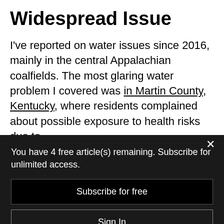Widespread Issue
I've reported on water issues since 2016, mainly in the central Appalachian coalfields. The most glaring water problem I covered was in Martin County, Kentucky, where residents complained about possible exposure to health risks due to
You have 4 free article(s) remaining. Subscribe for unlimited access.
Subscribe for free
Sign In